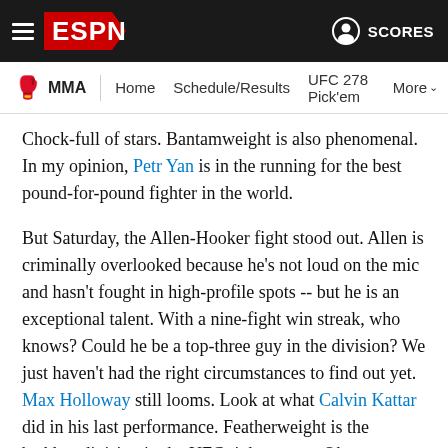ESPN — MMA | Home | Schedule/Results | UFC 278 Pick'em | More | SCORES
Chock-full of stars. Bantamweight is also phenomenal. In my opinion, Petr Yan is in the running for the best pound-for-pound fighter in the world.
But Saturday, the Allen-Hooker fight stood out. Allen is criminally overlooked because he's not loud on the mic and hasn't fought in high-profile spots -- but he is an exceptional talent. With a nine-fight win streak, who knows? Could he be a top-three guy in the division? We just haven't had the right circumstances to find out yet. Max Holloway still looms. Look at what Calvin Kattar did in his last performance. Featherweight is the baddest division in the UFC right now. -- Okamoto